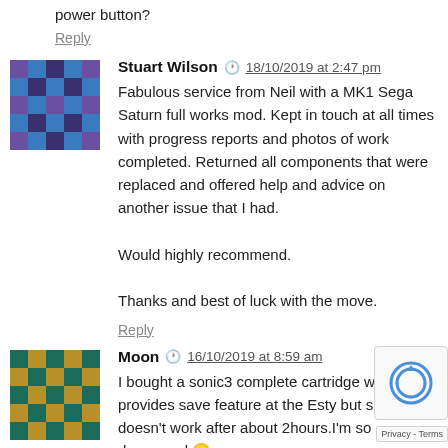power button?
Reply
Stuart Wilson  18/10/2019 at 2:47 pm
Fabulous service from Neil with a MK1 Sega Saturn full works mod. Kept in touch at all times with progress reports and photos of work completed. Returned all components that were replaced and offered help and advice on another issue that I had.

Would highly recommend.

Thanks and best of luck with the move.
Reply
Moon  16/10/2019 at 8:59 am
I bought a sonic3 complete cartridge which provides save feature at the Esty but save doesn't work after about 2hours.I'm so depressed 😐

I found this thread while googling how to fix it but I think